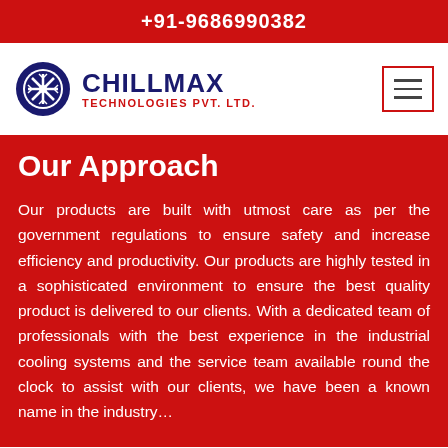+91-9686990382
[Figure (logo): Chillmax Technologies Pvt. Ltd. logo with gear and snowflake icon, company name in navy blue and red text]
Our Approach
Our products are built with utmost care as per the government regulations to ensure safety and increase efficiency and productivity. Our products are highly tested in a sophisticated environment to ensure the best quality product is delivered to our clients. With a dedicated team of professionals with the best experience in the industrial cooling systems and the service team available round the clock to assist with our clients, we have been a known name in the industry...